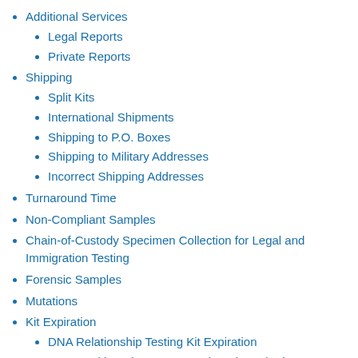Additional Services
Legal Reports
Private Reports
Shipping
Split Kits
International Shipments
Shipping to P.O. Boxes
Shipping to Military Addresses
Incorrect Shipping Addresses
Turnaround Time
Non-Compliant Samples
Chain-of-Custody Specimen Collection for Legal and Immigration Testing
Forensic Samples
Mutations
Kit Expiration
DNA Relationship Testing Kit Expiration
DNA Health and Ancestry Testing Kit Expiration